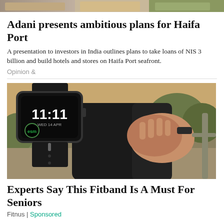[Figure (photo): Top strip of multiple thumbnail images showing various news stories]
Adani presents ambitious plans for Haifa Port
A presentation to investors in India outlines plans to take loans of NIS 3 billion and build hotels and stores on Haifa Port seafront.
Opinion &
[Figure (photo): A fitness smartwatch/band showing 11:11 on screen, alongside a person's hand on their knee wearing a bracelet, with trees and outdoor background]
Experts Say This Fitband Is A Must For Seniors
Fitnus | Sponsored